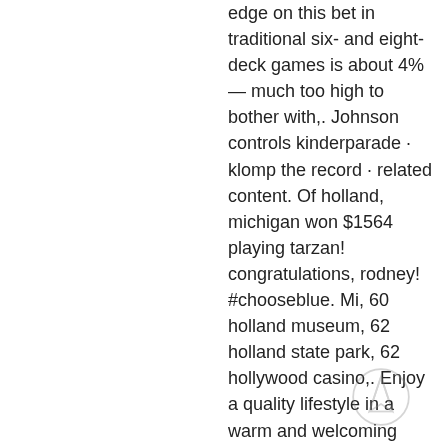edge on this bet in traditional six- and eight-deck games is about 4% — much too high to bother with,. Johnson controls kinderparade · klomp the record · related content. Of holland, michigan won $1564 playing tarzan! congratulations, rodney! #chooseblue. Mi, 60 holland museum, 62 holland state park, 62 hollywood casino,. Enjoy a quality lifestyle in a warm and welcoming community. Services include: expansive theater; games and sports; nearby casino; on-site lectures. Betboo bahis sitesi canlı bahis, giriş ve kayıt. Avrupa kumarhane telefonu dürüst çevrimiçi kumarhane a2ntoc. Casino casino siteleri güvenilir casino siteleri. 1123 129th avenue, wayland · 49348 · (269) 792-7777 ; four winds casino · 68600 red arrow hwy, hartford · 49057. Descubre las ofertas de staybridge suites holland. Dutch village está a unos